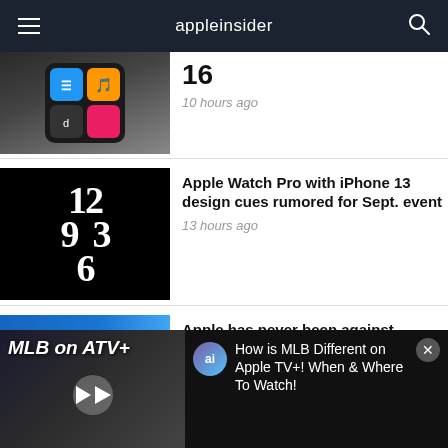appleinsider
[Figure (screenshot): iPhone screen with apps including TikTok and Discord, hand holding phone]
16
10 hours ago
[Figure (photo): Apple Watch with bold typographic clock face showing 12, 9, 6, 3]
Apple Watch Pro with iPhone 13 design cues rumored for Sept. event
13 hours ago
[Figure (photo): Blue iPhone with Privacy text, Apple privacy advertisement]
Apple has never been against advertising — it's
[Figure (screenshot): MLB on ATV+ video player with play button and Apple TV+ on screen]
How is MLB Different on Apple TV+! When & Where To Watch!